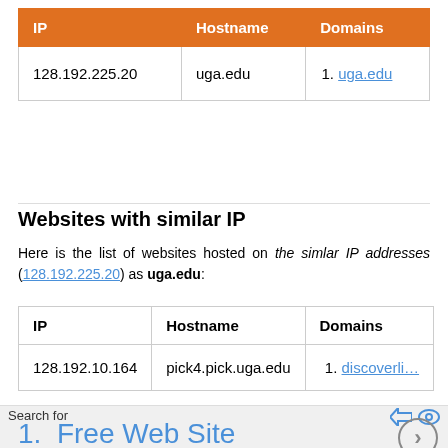| IP | Hostname | Domains |
| --- | --- | --- |
| 128.192.225.20 | uga.edu | 1. uga.edu |
Websites with similar IP
Here is the list of websites hosted on the simlar IP addresses (128.192.225.20) as uga.edu:
| IP | Hostname | Domains |
| --- | --- | --- |
| 128.192.10.164 | pick4.pick.uga.edu | 1. discoverli... |
Search for
1.  Free Web Site